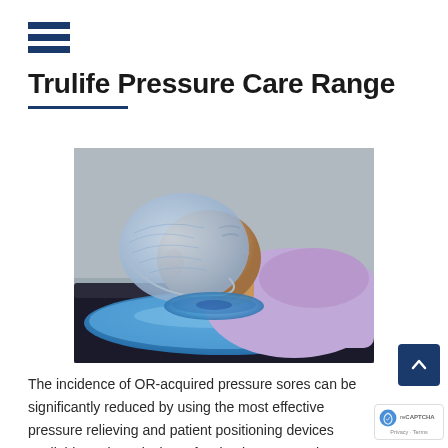[Figure (logo): Trulife brand logo consisting of three horizontal navy blue bars/stripes stacked]
Trulife Pressure Care Range
[Figure (photo): A patient lying on a medical table with a blue gel pressure-relief pad under their head and neck, wearing a light blue disposable hair cover, dressed in a lavender sleeveless top. The patient appears to be in a supine position for a medical procedure.]
The incidence of OR-acquired pressure sores can be significantly reduced by using the most effective pressure relieving and patient positioning devices available and employing a few basic concepts in positioning care.